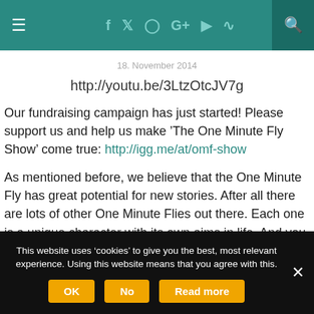≡  f  t  ◻  G+  ▶  )))  🔍
18. November 2014
http://youtu.be/3LtzOtcJV7g
Our fundraising campaign has just started! Please support us and help us make 'The One Minute Fly Show' come true: http://igg.me/at/omf-show
As mentioned before, we believe that the One Minute Fly has great potential for new stories. After all there are lots of other One Minute Flies out there. Each one is a unique character with its own aims in life. And you can help to make their stories come true.
This website uses 'cookies' to give you the best, most relevant experience. Using this website means that you agree with this. OK  No  Read more